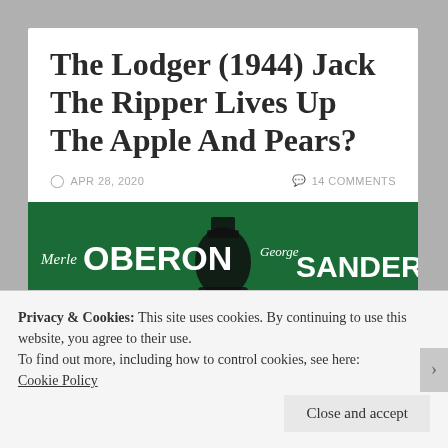The Lodger (1944) Jack The Ripper Lives Up The Apple And Pears?
APR 28, 2020   14 COMMENTS
[Figure (photo): Movie poster for The Lodger (1944) showing Merle Oberon, George Sanders, Laird Cregar on a dark green background with white text]
Privacy & Cookies: This site uses cookies. By continuing to use this website, you agree to their use.
To find out more, including how to control cookies, see here: Cookie Policy
Close and accept